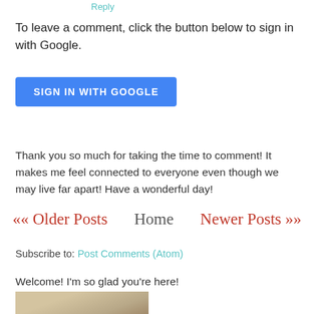Reply
To leave a comment, click the button below to sign in with Google.
SIGN IN WITH GOOGLE
Thank you so much for taking the time to comment! It makes me feel connected to everyone even though we may live far apart! Have a wonderful day!
<< Older Posts   Home   Newer Posts >>
Subscribe to: Post Comments (Atom)
Welcome! I'm so glad you're here!
[Figure (photo): Profile photo showing a person with light hair, indoors]